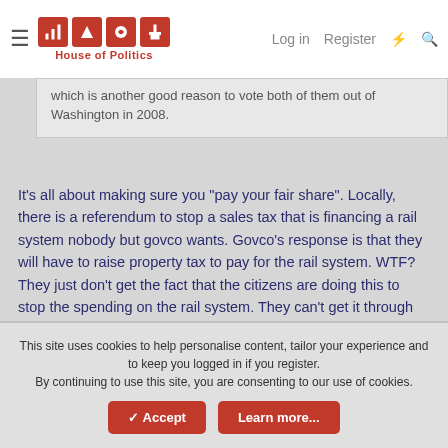House of Politics — Log in  Register
which is another good reason to vote both of them out of Washington in 2008.
It's all about making sure you "pay your fair share". Locally, there is a referendum to stop a sales tax that is financing a rail system nobody but govco wants. Govco's response is that they will have to raise property tax to pay for the rail system. WTF? They just don't get the fact that the citizens are doing this to stop the spending on the rail system. They can't get it through their thick heads that we are tired of being taxed everytime we turn. It is like an addiction to them, they have to keep stealing that money, the thought of reducing spending, or even just keeping spending constant is foreign to them. They just want more and more.
This site uses cookies to help personalise content, tailor your experience and to keep you logged in if you register.
By continuing to use this site, you are consenting to our use of cookies.
✓ Accept   Learn more...